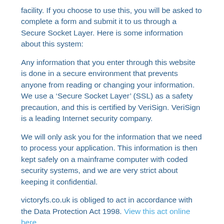facility. If you choose to use this, you will be asked to complete a form and submit it to us through a Secure Socket Layer. Here is some information about this system:
Any information that you enter through this website is done in a secure environment that prevents anyone from reading or changing your information. We use a ‘Secure Socket Layer’ (SSL) as a safety precaution, and this is certified by VeriSign. VeriSign is a leading Internet security company.
We will only ask you for the information that we need to process your application. This information is then kept safely on a mainframe computer with coded security systems, and we are very strict about keeping it confidential.
victoryfs.co.uk is obliged to act in accordance with the Data Protection Act 1998. View this act online here.